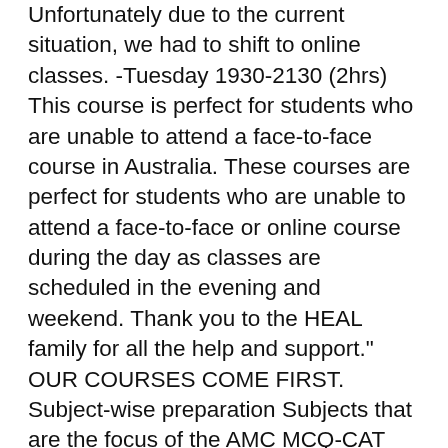Unfortunately due to the current situation, we had to shift to online classes. -Tuesday 1930-2130 (2hrs) This course is perfect for students who are unable to attend a face-to-face course in Australia. These courses are perfect for students who are unable to attend a face-to-face or online course during the day as classes are scheduled in the evening and weekend. Thank you to the HEAL family for all the help and support." OUR COURSES COME FIRST. Subject-wise preparation Subjects that are the focus of the AMC MCQ-CAT exam are Medicine, Surgery, Child health, Women's health, Mental health, Population ... In simple word, there will be multiple short cases. 6 weeks, 18 hours per week of webinars + pre-reading, 6 weeks, 18 hours per week of webinars + pre-reading. In addition to medical education, we are committed to improving health education ... Do you have any experience if this course is worthwhile to prepare for MCQ? Students can choose from two after hours courses:  the All Disciplines course; or the Specialty